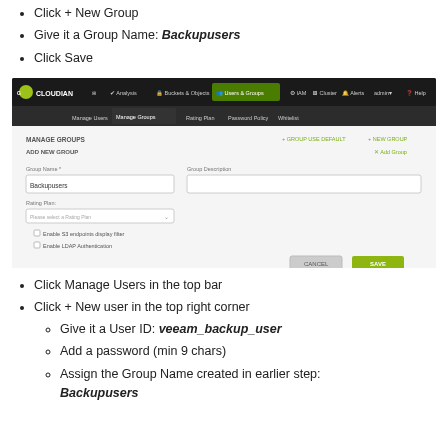Click + New Group
Give it a Group Name: Backupusers
Click Save
[Figure (screenshot): Cloudian HyperStore admin UI showing the Manage Groups page with Add New Group form. The Group Name field contains 'Backupusers'. Fields visible: Group Name, Group Description, Rating Plan, Enable S3 endpoints display filter, Enable LDAP Authentication. Buttons: Cancel, Save.]
Click Manage Users in the top bar
Click + New user in the top right corner
Give it a User ID: veeam_backup_user
Add a password (min 9 chars)
Assign the Group Name created in earlier step: Backupusers